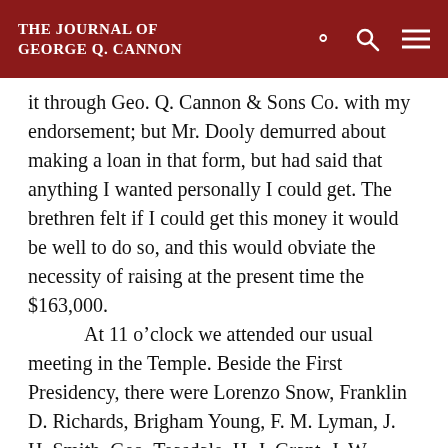The Journal of George Q. Cannon
it through Geo. Q. Cannon & Sons Co. with my endorsement; but Mr. Dooly demurred about making a loan in that form, but had said that anything I wanted personally I could get. The brethren felt if I could get this money it would be well to do so, and this would obviate the necessity of raising at the present time the $163,000.

At 11 o'clock we attended our usual meeting in the Temple. Beside the First Presidency, there were Lorenzo Snow, Franklin D. Richards, Brigham Young, F. M. Lyman, J. H. Smith, Geo. Teasdale, H. J. Grant, J. W. Taylor